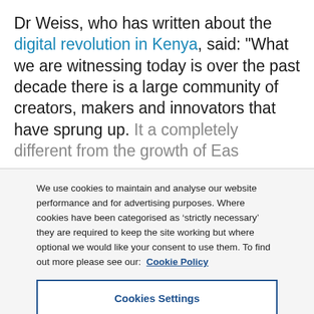Dr Weiss, who has written about the digital revolution in Kenya, said: "What we are witnessing today is over the past decade there is a large community of creators, makers and innovators that have sprung up. It a completely different from the growth of East...
We use cookies to maintain and analyse our website performance and for advertising purposes. Where cookies have been categorised as ‘strictly necessary’ they are required to keep the site working but where optional we would like your consent to use them. To find out more please see our: Cookie Policy
Cookies Settings
Reject All
Accept All Cookies